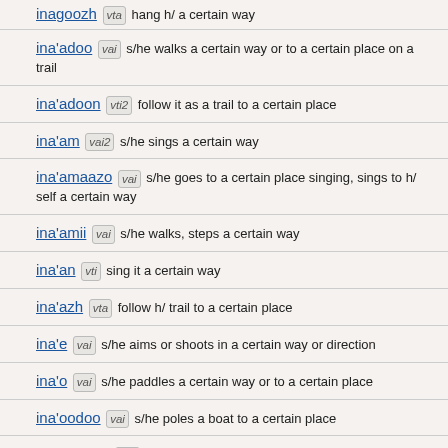inagoozh vta hang h/ a certain way
ina'adoo vai s/he walks a certain way or to a certain place on a trail
ina'adoon vti2 follow it as a trail to a certain place
ina'am vai2 s/he sings a certain way
ina'amaazo vai s/he goes to a certain place singing, sings to h/ self a certain way
ina'amii vai s/he walks, steps a certain way
ina'an vti sing it a certain way
ina'azh vta follow h/ trail to a certain place
ina'e vai s/he aims or shoots in a certain way or direction
ina'o vai s/he paddles a certain way or to a certain place
ina'oodoo vai s/he poles a boat to a certain place
ina'oodoon vti2 take it to a certain place on the water